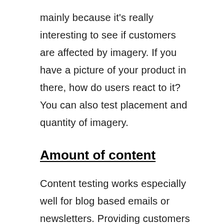mainly because it's really interesting to see if customers are affected by imagery. If you have a picture of your product in there, how do users react to it? You can also test placement and quantity of imagery.
Amount of content
Content testing works especially well for blog based emails or newsletters. Providing customers with too many articles can cause a paradox. If there's too much choice, to the point where the user feels overwhelmed, they may not take any action. However, in other